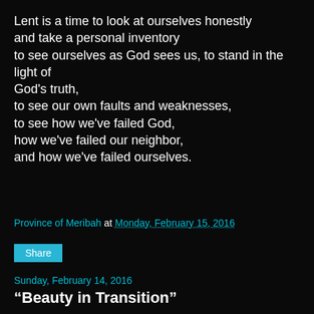Lent is a time to look at ourselves honestly and take a personal inventory to see ourselves as God sees us, to stand in the light of God's truth, to see our own faults and weaknesses, to see how we've failed God, how we've failed our neighbor, and how we've failed ourselves.
Province of Meribah at Monday, February 15, 2016
Share
Sunday, February 14, 2016
“Beauty in Transition”
[Figure (photo): A small broken image placeholder with alt text 'beauty in transition' on a dark grey background box]